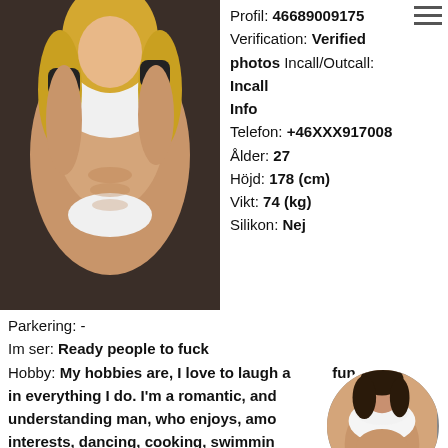[Figure (photo): Blonde woman in white athletic attire posing in a gym]
Profil: 46689009175
Verification: Verified photos Incall/Outcall: Incall
Info
Telefon: +46XXX917008
Ålder: 27
Höjd: 178 (cm)
Vikt: 74 (kg)
Silikon: Nej
Parkering: -
Im ser: Ready people to fuck
Hobby: My hobbies are, I love to laugh and fun in everything I do. I'm a romantic, and understanding man, who enjoys, among interests, dancing, cooking, swimming, sports, as well as learning many new and exciting things...
[Figure (photo): Small circular thumbnail photo of a woman]